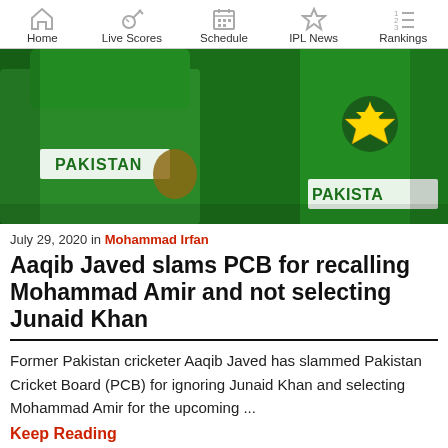Home | Live Scores | Schedule | IPL News | Rankings
[Figure (photo): Pakistan cricket players in green jerseys running, Champions Trophy logo visible on one jersey]
July 29, 2020 in Mohammad Irfan
Aaqib Javed slams PCB for recalling Mohammad Amir and not selecting Junaid Khan
Former Pakistan cricketer Aaqib Javed has slammed Pakistan Cricket Board (PCB) for ignoring Junaid Khan and selecting Mohammad Amir for the upcoming ...
Keep Reading